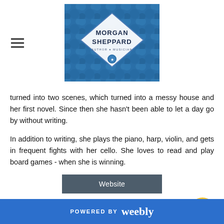Morgan Sheppard
turned into two scenes, which turned into a messy house and her first novel. Since then she hasn't been able to let a day go by without writing.
In addition to writing, she plays the piano, harp, violin, and gets in frequent fights with her cello. She loves to read and play board games - when she is winning.
Website
Like 0
Tweet
0 Comments
POWERED BY weebly